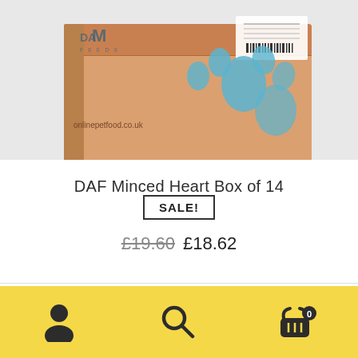[Figure (photo): A brown cardboard box with blue paw print pattern and a white label, photographed on a light background. Text on box includes a web address ending in .co.uk.]
DAF Minced Heart Box of 14
SALE!
£19.60  £18.62
Quick View   Add to basket
[Figure (infographic): Yellow bottom navigation bar with three icons: a person/account icon, a search/magnifying glass icon, and a shopping basket icon with badge showing 0.]